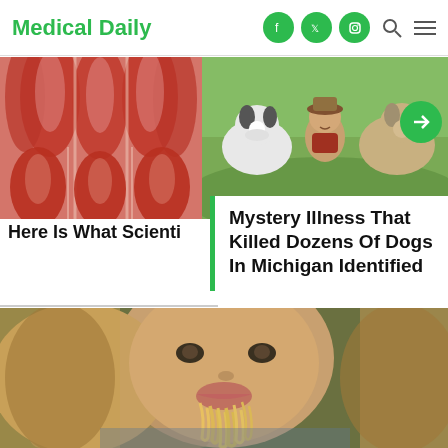Medical Daily
[Figure (screenshot): Medical Daily website screenshot showing logo, social media icons (Facebook, Twitter, Instagram), search and menu icons in navigation bar]
[Figure (photo): Close-up anatomical illustration of human muscles (red muscle fibers)]
[Figure (photo): Child sitting outdoors with two dogs, one appears to be a border collie, in a grassy field]
Here Is What Scienti
Mystery Illness That Killed Dozens Of Dogs In Michigan Identified
[Figure (photo): Close-up of a blonde woman eating spaghetti, mouth full of pasta noodles, blurred background]